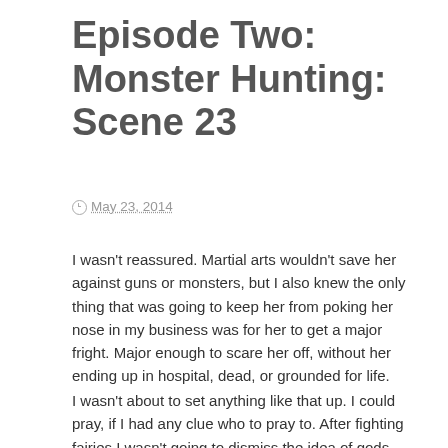Episode Two: Monster Hunting: Scene 23
May 23, 2014
I wasn’t reassured. Martial arts wouldn’t save her against guns or monsters, but I also knew the only thing that was going to keep her from poking her nose in my business was for her to get a major fright. Major enough to scare her off, without her ending up in hospital, dead, or grounded for life.
I wasn’t about to set anything like that up. I could pray, if I had any clue who to pray to. After fighting fairies I wasn’t going to dismiss the idea of gods.
Then again, I never really had. But no sooner had I left the group home, than I felt the presence of the